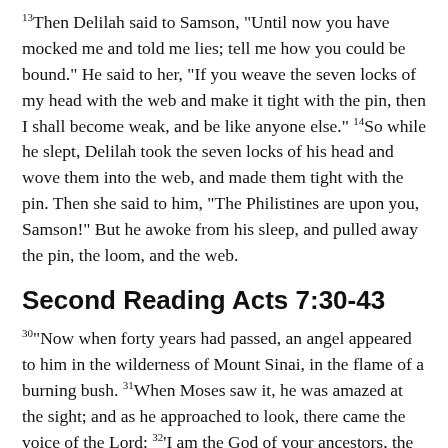13Then Delilah said to Samson, "Until now you have mocked me and told me lies; tell me how you could be bound." He said to her, "If you weave the seven locks of my head with the web and make it tight with the pin, then I shall become weak, and be like anyone else." 14So while he slept, Delilah took the seven locks of his head and wove them into the web, and made them tight with the pin. Then she said to him, "The Philistines are upon you, Samson!" But he awoke from his sleep, and pulled away the pin, the loom, and the web.
Second Reading Acts 7:30-43
30"Now when forty years had passed, an angel appeared to him in the wilderness of Mount Sinai, in the flame of a burning bush. 31When Moses saw it, he was amazed at the sight; and as he approached to look, there came the voice of the Lord: 32'I am the God of your ancestors, the God of Abraham, Isaac, and Jacob.' Moses began to tremble and did not dare to look. 33Then the